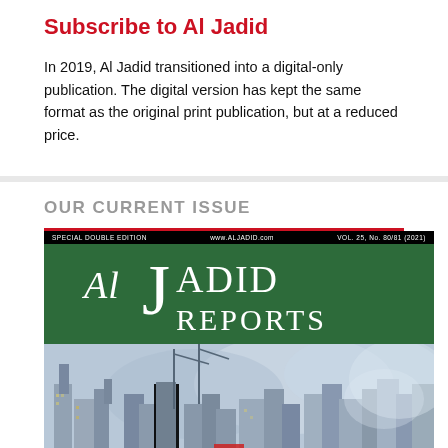Subscribe to Al Jadid
In 2019, Al Jadid transitioned into a digital-only publication. The digital version has kept the same format as the original print publication, but at a reduced price.
OUR CURRENT ISSUE
[Figure (illustration): Cover of Al Jadid Reports magazine - Special Double Edition, Vol. 25, No. 80/81. Green header with 'AL JADID REPORTS' in white serif type, with an impressionistic cityscape painting below showing buildings and sky in blue and grey tones.]